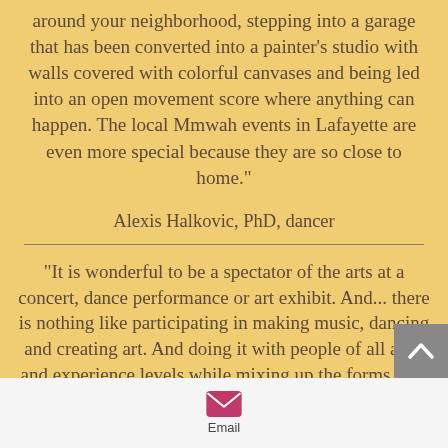around your neighborhood, stepping into a garage that has been converted into a painter's studio with walls covered with colorful canvases and being led into an open movement score where anything can happen. The local Mmwah events in Lafayette are even more special because they are so close to home."
Alexis Halkovic, PhD, dancer
"It is wonderful to be a spectator of the arts at a concert, dance performance or art exhibit.  And... there is nothing like participating in making music, dancing and creating art.  And doing it with people of all ages and experience levels while mixing up the forms, and it is a blast!  At a Mmmwhah gathering, everyone gets a chance to let their creative juices flow while being inspired by
[Figure (other): Email icon - envelope symbol in pink/magenta square button with 'Email' label below]